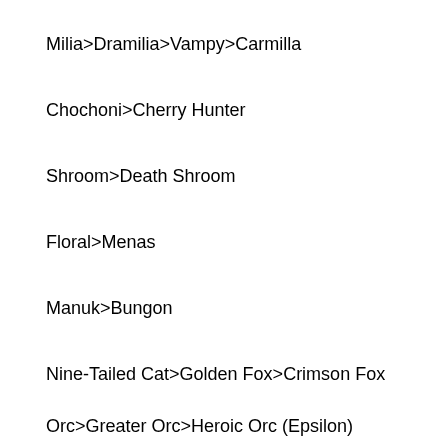Milia>Dramilia>Vampy>Carmilla
Chochoni>Cherry Hunter
Shroom>Death Shroom
Floral>Menas
Manuk>Bungon
Nine-Tailed Cat>Golden Fox>Crimson Fox
Orc>Greater Orc>Heroic Orc (Epsilon)